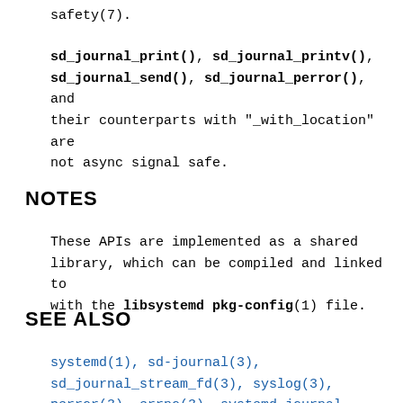safety(7).
sd_journal_print(), sd_journal_printv(), sd_journal_send(), sd_journal_perror(), and their counterparts with "_with_location" are not async signal safe.
NOTES
These APIs are implemented as a shared library, which can be compiled and linked to with the libsystemd pkg-config(1) file.
SEE ALSO
systemd(1), sd-journal(3), sd_journal_stream_fd(3), syslog(3), perror(3), errno(3), systemd.journal-fields(7), signal(7), socket(7)